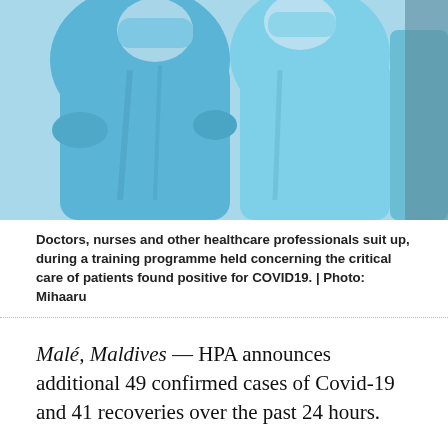[Figure (photo): Doctors, nurses and other healthcare professionals in blue surgical gowns and face masks/shields suiting up during a training programme for COVID-19 critical care.]
Doctors, nurses and other healthcare professionals suit up, during a training programme held concerning the critical care of patients found positive for COVID19. | Photo: Mihaaru
Malé, Maldives — HPA announces additional 49 confirmed cases of Covid-19 and 41 recoveries over the past 24 hours.
HPA disclosed that, between 6pm of October